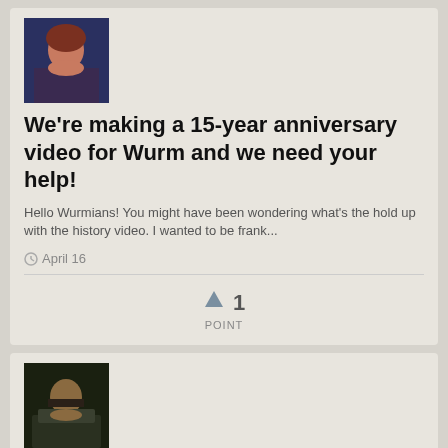[Figure (photo): Avatar image of a female character with red/auburn hair against a blue-dark background]
We're making a 15-year anniversary video for Wurm and we need your help!
Hello Wurmians! You might have been wondering what's the hold up with the history video. I wanted to be frank...
April 16
↑ 1
POINT
[Figure (photo): Avatar image of a dark-armored warrior character against a dark background]
Mooncat Lake is not "recruiting" but you might still want to live here